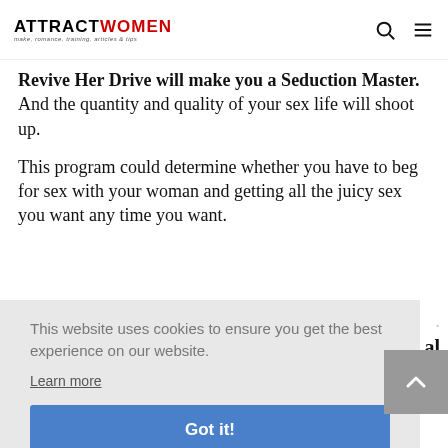ATTRACTWOMEN make, romance, training, articles & tips
Revive Her Drive will make you a Seduction Master. And the quantity and quality of your sex life will shoot up.
This program could determine whether you have to beg for sex with your woman and getting all the juicy sex you want any time you want.
This website uses cookies to ensure you get the best experience on our website. Learn more Got it!
Click the button below now if